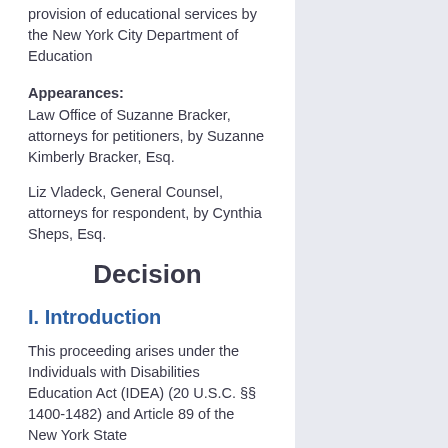provision of educational services by the New York City Department of Education
Appearances:
Law Office of Suzanne Bracker, attorneys for petitioners, by Suzanne Kimberly Bracker, Esq.
Liz Vladeck, General Counsel, attorneys for respondent, by Cynthia Sheps, Esq.
Decision
I. Introduction
This proceeding arises under the Individuals with Disabilities Education Act (IDEA) (20 U.S.C. §§ 1400-1482) and Article 89 of the New York State